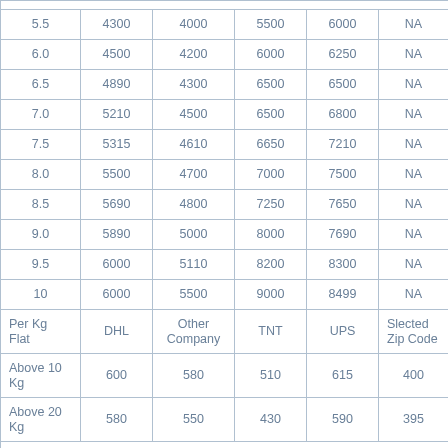| Per Kg Flat | DHL | Other Company | TNT | UPS | Slected Zip Code |
| --- | --- | --- | --- | --- | --- |
| 5.5 | 4300 | 4000 | 5500 | 6000 | NA |
| 6.0 | 4500 | 4200 | 6000 | 6250 | NA |
| 6.5 | 4890 | 4300 | 6500 | 6500 | NA |
| 7.0 | 5210 | 4500 | 6500 | 6800 | NA |
| 7.5 | 5315 | 4610 | 6650 | 7210 | NA |
| 8.0 | 5500 | 4700 | 7000 | 7500 | NA |
| 8.5 | 5690 | 4800 | 7250 | 7650 | NA |
| 9.0 | 5890 | 5000 | 8000 | 7690 | NA |
| 9.5 | 6000 | 5110 | 8200 | 8300 | NA |
| 10 | 6000 | 5500 | 9000 | 8499 | NA |
| Per Kg Flat | DHL | Other Company | TNT | UPS | Slected Zip Code |
| Above 10 Kg | 600 | 580 | 510 | 615 | 400 |
| Above 20 Kg | 580 | 550 | 430 | 590 | 395 |